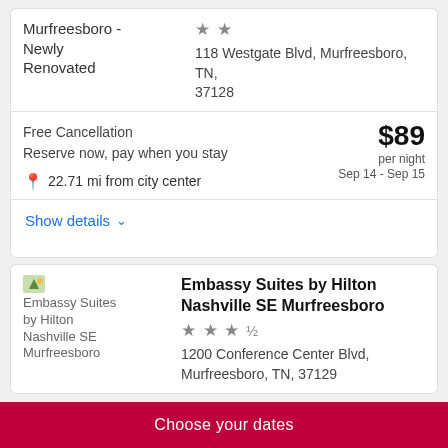Murfreesboro - Newly Renovated
★★
118 Westgate Blvd, Murfreesboro, TN, 37128
Free Cancellation
Reserve now, pay when you stay
$89 per night
Sep 14 - Sep 15
22.71 mi from city center
Show details ∨
[Figure (photo): Embassy Suites by Hilton Nashville SE Murfreesboro hotel thumbnail image]
Embassy Suites by Hilton Nashville SE Murfreesboro
★★★½
1200 Conference Center Blvd, Murfreesboro, TN, 37129
Choose your dates